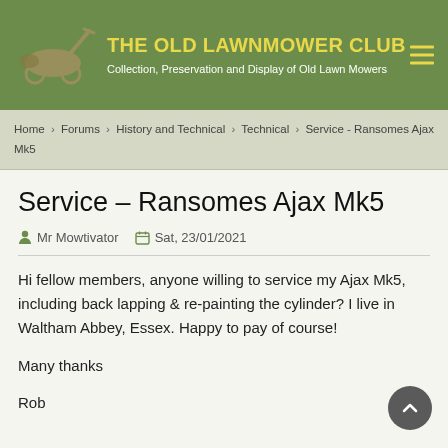THE OLD LAWNMOWER CLUB — Collection, Preservation and Display of Old Lawn Mowers
Home > Forums > History and Technical > Technical > Service - Ransomes Ajax Mk5
Service – Ransomes Ajax Mk5
Mr Mowtivator   Sat, 23/01/2021
Hi fellow members, anyone willing to service my Ajax Mk5, including back lapping & re-painting the cylinder? I live in Waltham Abbey, Essex. Happy to pay of course!

Many thanks

Rob